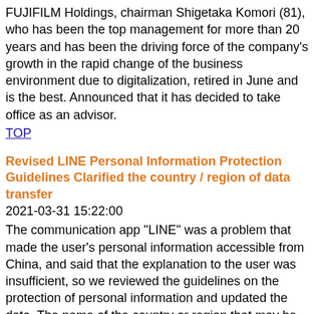FUJIFILM Holdings, chairman Shigetaka Komori (81), who has been the top management for more than 20 years and has been the driving force of the company's growth in the rapid change of the business environment due to digitalization, retired in June and is the best. Announced that it has decided to take office as an advisor.
TOP
Revised LINE Personal Information Protection Guidelines Clarified the country / region of data transfer
2021-03-31 15:22:00
The communication app "LINE" was a problem that made the user's personal information accessible from China, and said that the explanation to the user was insufficient, so we reviewed the guidelines on the protection of personal information and updated the data. The name of the country or region that may be relocated has been changed.
TOP